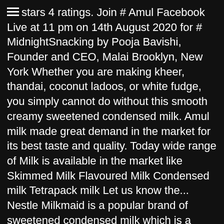stars 4 ratings. Join # Amul Facebook Live at 11 pm on 14th August 2020 for # MidnightSnacking by Pooja Bavishi, Founder and CEO, Malai Brooklyn, New York Whether you are making kheer, thandai, coconut ladoos, or white fudge, you simply cannot do without this smooth creamy sweetened condensed milk. Amul milk made great demand in the market for its best taste and quality. Today wide range of Milk is available in the market like Skimmed Milk Flavoured Milk Condensed milk Tetrapack milk Let us know the... Nestle Milkmaid is a popular brand of sweetened condensed milk which is a commonly used ingredient in Indian desserts. Condensed Milk Indian Recipes. Raw milk roughly comprises 87.3 per cent water, 3.9 per cent milk fats and 8.8 per cent non-fat milk solids (protein, milk sugar, minerals, etc.). You can use any chocolate you like. Make and enjoy your favourite desserts after lunch, dinner or as a snack. Cardamom